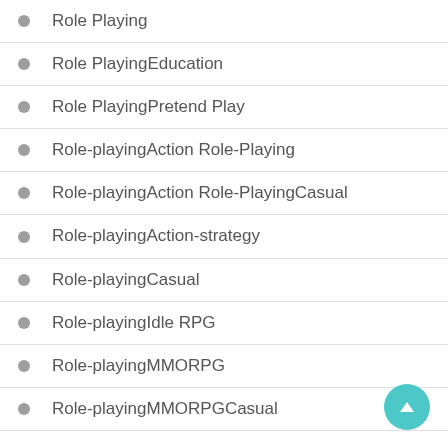Role Playing
Role PlayingEducation
Role PlayingPretend Play
Role-playingAction Role-Playing
Role-playingAction Role-PlayingCasual
Role-playingAction-strategy
Role-playingCasual
Role-playingIdle RPG
Role-playingMMORPG
Role-playingMMORPGCasual